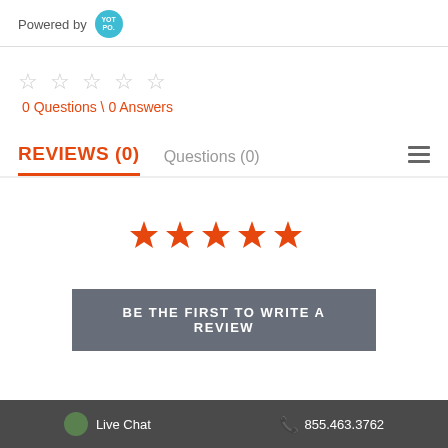Powered by YOTPO
☆ ☆ ☆ ☆ ☆
0 Questions \ 0 Answers
REVIEWS (0)  Questions (0)
[Figure (other): Five filled orange stars for rating]
BE THE FIRST TO WRITE A REVIEW
Live Chat  855.463.3762